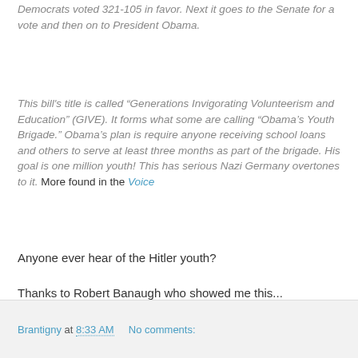Democrats voted 321-105 in favor. Next it goes to the Senate for a vote and then on to President Obama.
This bill's title is called “Generations Invigorating Volunteerism and Education” (GIVE). It forms what some are calling “Obama’s Youth Brigade.” Obama’s plan is require anyone receiving school loans and others to serve at least three months as part of the brigade. His goal is one million youth! This has serious Nazi Germany overtones to it. More found in the Voice
Anyone ever hear of the Hitler youth?
Thanks to Robert Banaugh who showed me this...
God save us,
Brantigny
Brantigny at 8:33 AM    No comments: